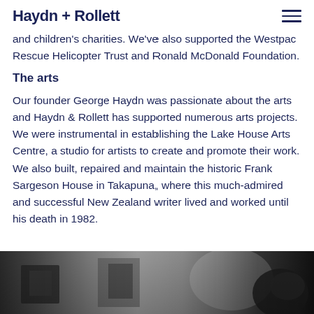Haydn + Rollett
and children's charities. We've also supported the Westpac Rescue Helicopter Trust and Ronald McDonald Foundation.
The arts
Our founder George Haydn was passionate about the arts and Haydn & Rollett has supported numerous arts projects. We were instrumental in establishing the Lake House Arts Centre, a studio for artists to create and promote their work. We also built, repaired and maintain the historic Frank Sargeson House in Takapuna, where this much-admired and successful New Zealand writer lived and worked until his death in 1982.
[Figure (photo): Grayscale photo strip showing workshop or studio scene with machinery/equipment on the right side]